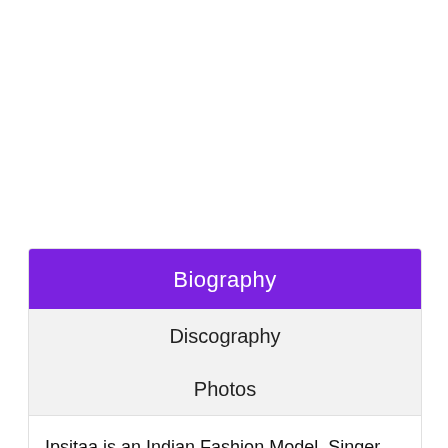Biography
Discography
Photos
Ipsitaa is an Indian Fashion Model, Singer, and Actress. She is also an amazing Kathak Dancer.